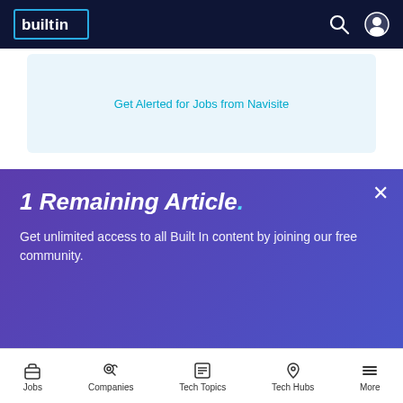builtin [logo] with search and account icons
Get Alerted for Jobs from Navisite
[Figure (photo): Photo of a white Apple keyboard, Apple Magic Mouse on a white desk, with a yellow USB drive visible on the right side, and a hand partially visible on the left.]
1 Remaining Article.
Get unlimited access to all Built In content by joining our free community.
Jobs | Companies | Tech Topics | Tech Hubs | More